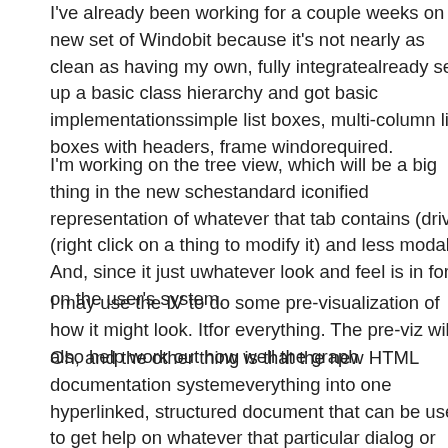I've already been working for a couple weeks on a new set of Windows UI controls... bit because it's not nearly as clean as having my own, fully integrated... already set up a basic class hierarchy and got basic implementations... simple list boxes, multi-column list boxes with headers, frame windows... required.
I'm working on the tree view, which will be a big thing in the new scheme... standard iconified representation of whatever that tab contains (drives... (right click on a thing to modify it) and less modal. And, since it just uses... whatever look and feel is in force on the user's system.
I may use the IV to do some pre-visualization of how it might look. It'll... for everything. The pre-viz will also help work out how well the graphi...
Oh, and the other thing is that the new HTML documentation system... everything into one hyperlinked, structured document that can be used... to get help on whatever that particular dialog or application is about. T... complex. And of course a lot of it can't be started until we know what... won't be affected by the GUI stuff, like CML, PDL, drivers, device clas...
So, anyhoo, there it is. I'm some will be happy, some will be not so ha... directly or indirectly. As you can imagine, if I even just live through th...